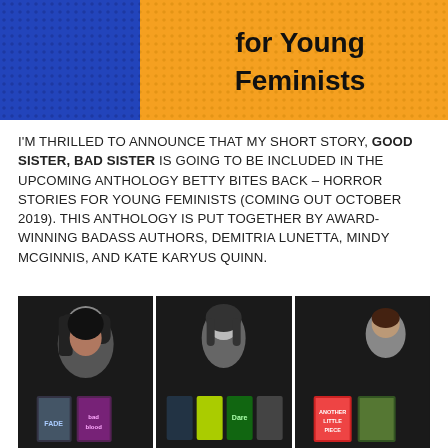[Figure (illustration): Banner image for Betty Bites Back anthology with blue polka-dot section on left and orange section on right with bold black text reading 'for Young Feminists']
I'M THRILLED TO ANNOUNCE THAT MY SHORT STORY, GOOD SISTER, BAD SISTER IS GOING TO BE INCLUDED IN THE UPCOMING ANTHOLOGY BETTY BITES BACK – HORROR STORIES FOR YOUNG FEMINISTS (COMING OUT OCTOBER 2019). THIS ANTHOLOGY IS PUT TOGETHER BY AWARD-WINNING BADASS AUTHORS, DEMITRIA LUNETTA, MINDY MCGINNIS, AND KATE KARYUS QUINN.
[Figure (photo): Three dark-background panels showing author photos and book covers: left panel shows a woman with black hair and books (Fade, Bad Blood), center panel shows a woman with dark hair and several books, right panel shows a woman with short hair and books (Another Little Piece)]